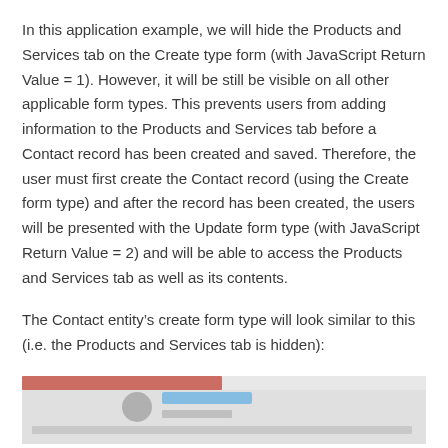In this application example, we will hide the Products and Services tab on the Create type form (with JavaScript Return Value = 1). However, it will be still be visible on all other applicable form types. This prevents users from adding information to the Products and Services tab before a Contact record has been created and saved. Therefore, the user must first create the Contact record (using the Create form type) and after the record has been created, the users will be presented with the Update form type (with JavaScript Return Value = 2) and will be able to access the Products and Services tab as well as its contents.
The Contact entity's create form type will look similar to this (i.e. the Products and Services tab is hidden):
[Figure (screenshot): Screenshot of a Contact entity create form with the Products and Services tab hidden, showing a red top bar and a form interface with an avatar icon and badge.]